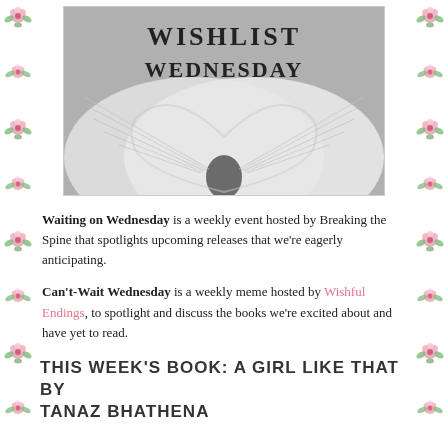[Figure (illustration): Decorative floral border on the left side of the page with pink roses and green leaves repeating pattern]
[Figure (illustration): Decorative floral border on the right side of the page with pink roses and green leaves repeating pattern]
[Figure (photo): Black and white photo of an open book with pages fanned into a heart shape, with 'WISHLIST WEDNESDAY' text overlaid at the top in bold serif font]
Waiting on Wednesday is a weekly event hosted by Breaking the Spine that spotlights upcoming releases that we're eagerly anticipating.
Can't-Wait Wednesday is a weekly meme hosted by Wishful Endings, to spotlight and discuss the books we're excited about and have yet to read.
THIS WEEK'S BOOK: A GIRL LIKE THAT BY TANAZ BHATHENA